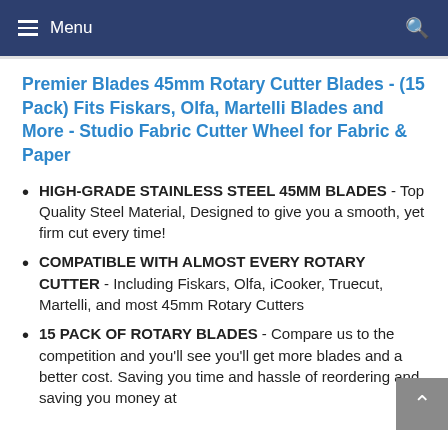Menu
Premier Blades 45mm Rotary Cutter Blades - (15 Pack) Fits Fiskars, Olfa, Martelli Blades and More - Studio Fabric Cutter Wheel for Fabric & Paper
HIGH-GRADE STAINLESS STEEL 45MM BLADES - Top Quality Steel Material, Designed to give you a smooth, yet firm cut every time!
COMPATIBLE WITH ALMOST EVERY ROTARY CUTTER - Including Fiskars, Olfa, iCooker, Truecut, Martelli, and most 45mm Rotary Cutters
15 PACK OF ROTARY BLADES - Compare us to the competition and you'll see you'll get more blades and a better cost. Saving you time and hassle of reordering and saving you money at the competition!